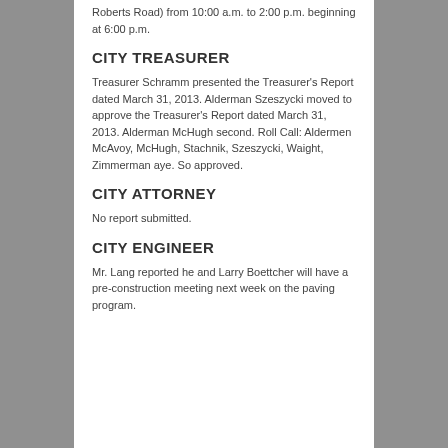Roberts Road) from 10:00 a.m. to 2:00 p.m. beginning at 6:00 p.m.
CITY TREASURER
Treasurer Schramm presented the Treasurer's Report dated March 31, 2013. Alderman Szeszycki moved to approve the Treasurer's Report dated March 31, 2013. Alderman McHugh second. Roll Call: Aldermen McAvoy, McHugh, Stachnik, Szeszycki, Waight, Zimmerman aye. So approved.
CITY ATTORNEY
No report submitted.
CITY ENGINEER
Mr. Lang reported he and Larry Boettcher will have a pre-construction meeting next week on the paving program.